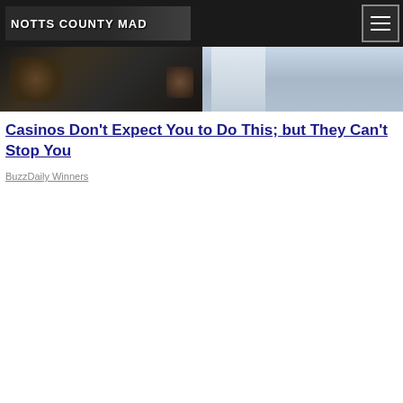NOTTS COUNTY MAD
[Figure (photo): Two-panel hero image: left panel shows dark casino-themed imagery with chips/gambling elements; right panel shows a person in light-colored clothing against a light blue/grey background]
Casinos Don't Expect You to Do This; but They Can't Stop You
BuzzDaily Winners